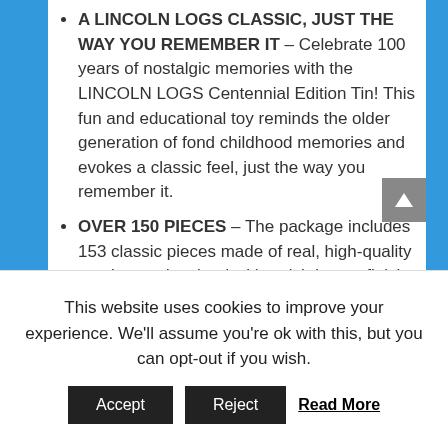A LINCOLN LOGS CLASSIC, JUST THE WAY YOU REMEMBER IT – Celebrate 100 years of nostalgic memories with the LINCOLN LOGS Centennial Edition Tin! This fun and educational toy reminds the older generation of fond childhood memories and evokes a classic feel, just the way you remember it.
OVER 150 PIECES – The package includes 153 classic pieces made of real, high-quality maple wood stained with a rich brown finish. Each piece has indentations that can be used to connect it with others to create a roof, a roof facade, walls, a porch, fences, and more.
3 BUILDING IDEAS – Follow the step-by-step instruction manual that's included to construct 3
This website uses cookies to improve your experience. We'll assume you're ok with this, but you can opt-out if you wish.
Accept   Reject   Read More